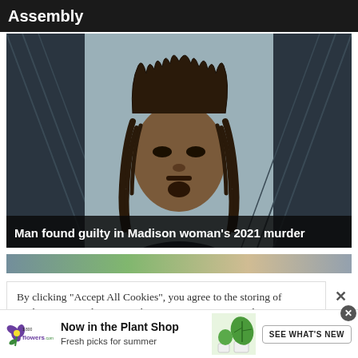Assembly
[Figure (photo): Mugshot-style photo of a man with dreadlocks against a light background, flanked by dark diagonal-striped panels. White text overlay at bottom reads: Man found guilty in Madison woman's 2021 murder]
Man found guilty in Madison woman's 2021 murder
[Figure (photo): Partial color strip showing fragments of a second news story image]
By clicking “Accept All Cookies”, you agree to the storing of cookies on your device to enhance site navigation, analyze site usage, and assist in our marketing efforts.
[Figure (infographic): 1-800-Flowers.com advertisement banner: logo with flower icon, headline Now in the Plant Shop, subtext Fresh picks for summer, plant photo, and SEE WHAT'S NEW button]